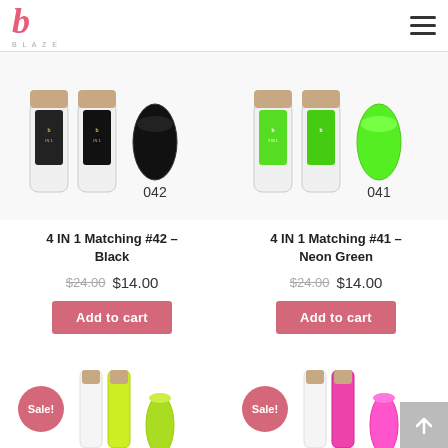b BLAZE (logo) — navigation header
[Figure (photo): Product photo: 4 IN 1 Matching nail polish set #42 Black — two bottles with rose gold caps and a black nail swatch, numbered 042]
4 IN 1 Matching #42 – Black
$24.00  $14.00
Add to cart
[Figure (photo): Product photo: 4 IN 1 Matching nail polish set #41 Neon Green — two bottles with rose gold caps and a neon green nail swatch, numbered 041]
4 IN 1 Matching #41 – Neon Green
$24.00  $14.00
Add to cart
[Figure (photo): Partial product photo bottom left: nail polish bottles with Sale! badge, yellow-green color]
[Figure (photo): Partial product photo bottom right: nail polish bottles with Sale! badge, pink/hot pink color]